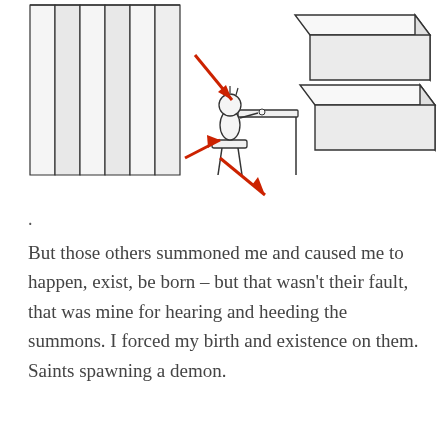[Figure (illustration): A line-drawn illustration showing a figure seated at a desk or platform between tall vertical panels on the left and large rectangular block shapes on the right. Two red arrows point toward the figure from above-left and below-left.]
.
But those others summoned me and caused me to happen, exist, be born – but that wasn't their fault, that was mine for hearing and heeding the summons. I forced my birth and existence on them. Saints spawning a demon.